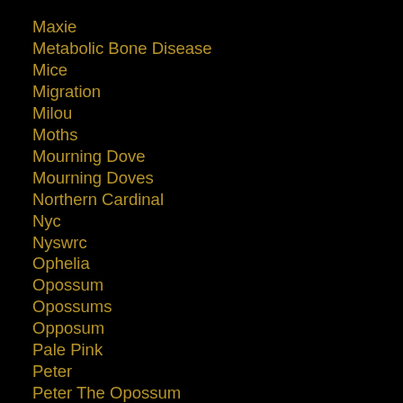Maxie
Metabolic Bone Disease
Mice
Migration
Milou
Moths
Mourning Dove
Mourning Doves
Northern Cardinal
Nyc
Nyswrc
Ophelia
Opossum
Opossums
Opposum
Pale Pink
Peter
Peter The Opossum
Pigeon
Pigeons
Pileated Woodpecker